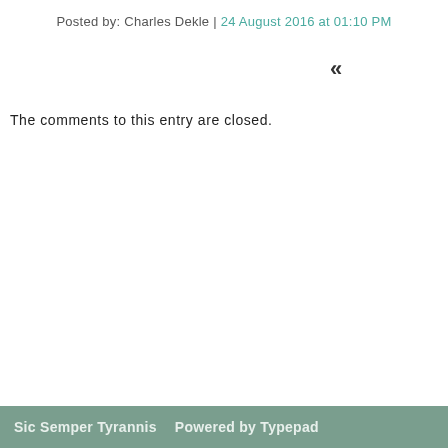Posted by: Charles Dekle | 24 August 2016 at 01:10 PM
«
The comments to this entry are closed.
Sic Semper Tyrannis   Powered by Typepad